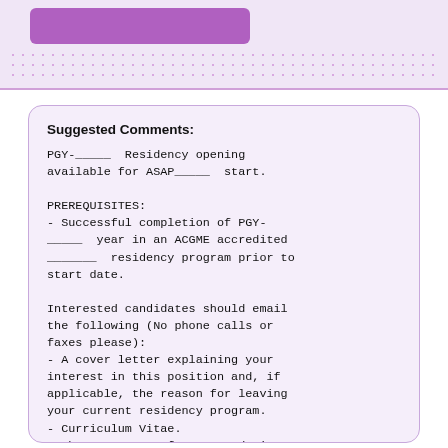[Figure (other): Top banner with purple button and dotted background area]
Suggested Comments:
PGY-_____ Residency opening available for ASAP_____ start.

PREREQUISITES:
- Successful completion of PGY-_____ year in an ACGME accredited _______ residency program prior to start date.

Interested candidates should email the following (No phone calls or faxes please):
- A cover letter explaining your interest in this position and, if applicable, the reason for leaving your current residency program.
- Curriculum Vitae.
- Three Letters of Recommendation.
- USMLE Scores (Step 1, Step 2 CK & CS).